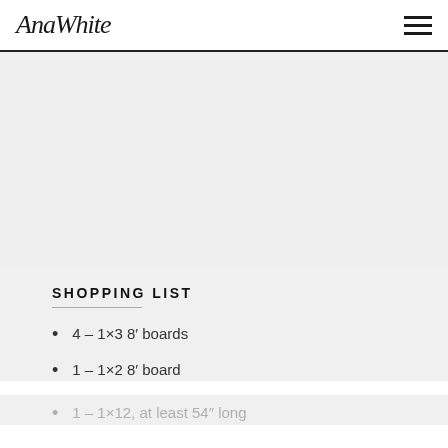AnaWhite
[Figure (other): Gray placeholder image area]
SHOPPING LIST
4 – 1×3 8' boards
1 – 1×2 8' board
1 – 1×12, at least 54" long